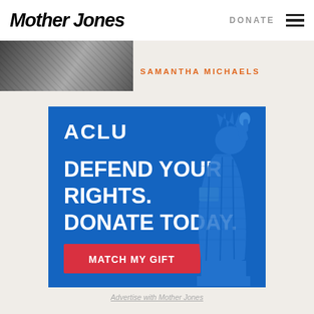Mother Jones | DONATE
[Figure (photo): Partial photo visible at top left below header]
SAMANTHA MICHAELS
[Figure (infographic): ACLU advertisement: 'DEFEND YOUR RIGHTS. DONATE TODAY.' with 'MATCH MY GIFT' button on blue background with Statue of Liberty illustration]
Advertise with Mother Jones